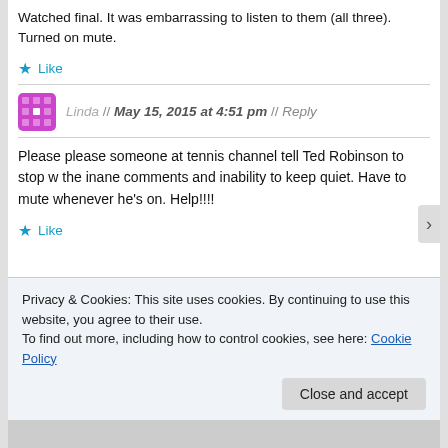Watched final. It was embarrassing to listen to them (all three). Turned on mute.
★ Like
Linda // May 15, 2015 at 4:51 pm // Reply
Please please someone at tennis channel tell Ted Robinson to stop w the inane comments and inability to keep quiet. Have to mute whenever he's on. Help!!!!
★ Like
Privacy & Cookies: This site uses cookies. By continuing to use this website, you agree to their use.
To find out more, including how to control cookies, see here: Cookie Policy
Close and accept